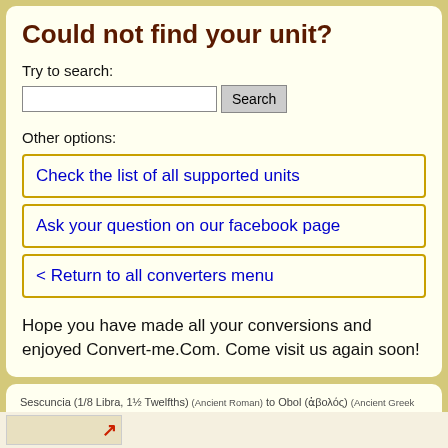Could not find your unit?
Try to search:
Other options:
Check the list of all supported units
Ask your question on our facebook page
< Return to all converters menu
Hope you have made all your conversions and enjoyed Convert-me.Com. Come visit us again soon!
Sescuncia (1/8 Libra, 1½ Twelfths) (Ancient Roman) to Obol (ἀβολός) (Ancient Greek (Aeginetic Standard))
This is a mobile (smartphone friendly) version of our site.
Copyright © 1996-2019 by Sergey Gershtein, Anna Gershtein. Unauthorized duplication prohibited. All rights reserved.
Our privacy policy